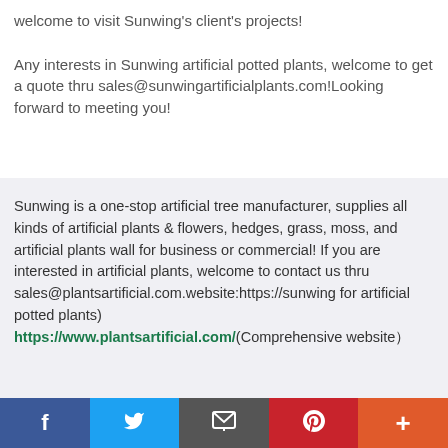welcome to visit Sunwing's client's projects!

Any interests in Sunwing artificial potted plants, welcome to get a quote thru sales@sunwingartificialplants.com!Looking forward to meeting you!
Sunwing is a one-stop artificial tree manufacturer, supplies all kinds of artificial plants & flowers, hedges, grass, moss, and artificial plants wall for business or commercial! If you are interested in artificial plants, welcome to contact us thru sales@plantsartificial.com.website:https://sunwing for artificial potted plants) https://www.plantsartificial.com/(Comprehensive website）
[Figure (other): Social sharing bar with Facebook, Twitter, Email, Pinterest, and More (+) buttons]